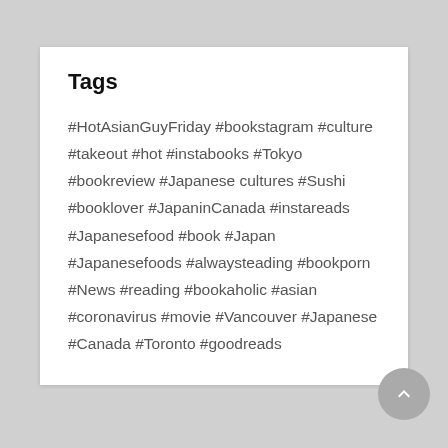Tags
#HotAsianGuyFriday #bookstagram #culture #takeout #hot #instabooks #Tokyo #bookreview #Japanese cultures #Sushi #booklover #JapaninCanada #instareads #Japanesefood #book #Japan #Japanesefoods #alwaysteading #bookporn #News #reading #bookaholic #asian #coronavirus #movie #Vancouver #Japanese #Canada #Toronto #goodreads